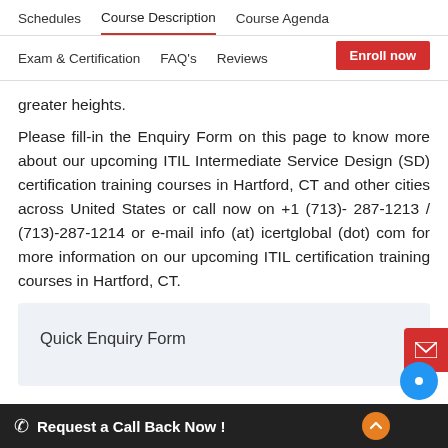Schedules  Course Description  Course Agenda  Exam & Certification  FAQ's  Reviews
greater heights.
Please fill-in the Enquiry Form on this page to know more about our upcoming ITIL Intermediate Service Design (SD) certification training courses in Hartford, CT and other cities across United States or call now on +1 (713)- 287-1213 / (713)-287-1214 or e-mail info (at) icertglobal (dot) com for more information on our upcoming ITIL certification training courses in Hartford, CT.
Quick Enquiry Form
Request a Call Back Now !